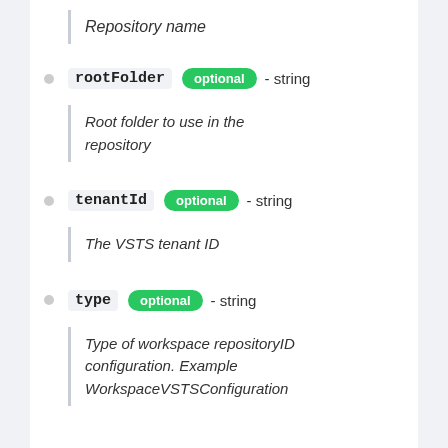Repository name
rootFolder  optional  - string
Root folder to use in the repository
tenantId  optional  - string
The VSTS tenant ID
type  optional  - string
Type of workspace repositoryID configuration. Example WorkspaceVSTSConfiguration